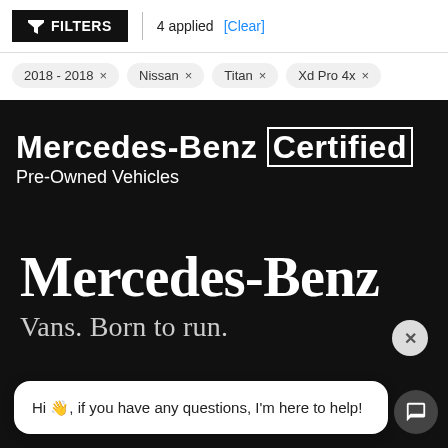[Figure (screenshot): Filter bar with funnel icon, FILTERS button, '4 applied' text, and blue [Clear] link]
2018 - 2018 ×   Nissan ×   Titan ×   Xd Pro 4x ×
Mercedes-Benz Certified Pre-Owned Vehicles
Mercedes-Benz
Vans. Born to run.
Hi 👋, if you have any questions, I'm here to help!